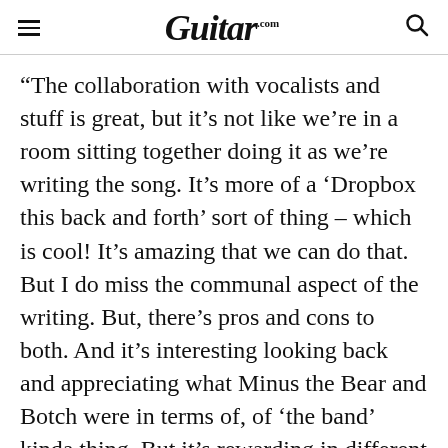Guitar.com
“The collaboration with vocalists and stuff is great, but it’s not like we’re in a room sitting together doing it as we’re writing the song. It’s more of a ‘Dropbox this back and forth’ sort of thing – which is cool! It’s amazing that we can do that. But I do miss the communal aspect of the writing. But, there’s pros and cons to both. And it’s interesting looking back and appreciating what Minus the Bear and Botch were in terms of, of ‘the band’ kinda thing. But it’s rewarding in different ways.”
Being the sole arbiter of everything on the